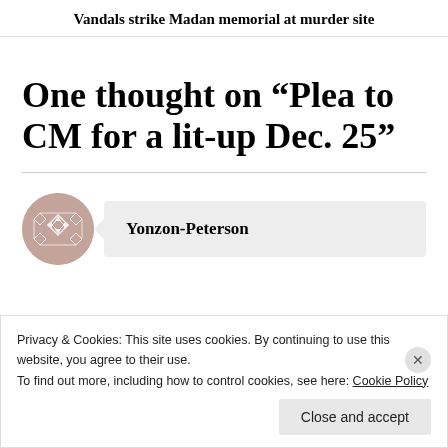Vandals strike Madan memorial at murder site
One thought on “Plea to CM for a lit-up Dec. 25”
Yonzon-Peterson
Privacy & Cookies: This site uses cookies. By continuing to use this website, you agree to their use.
To find out more, including how to control cookies, see here: Cookie Policy
Close and accept